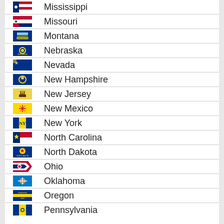Mississippi
Missouri
Montana
Nebraska
Nevada
New Hampshire
New Jersey
New Mexico
New York
North Carolina
North Dakota
Ohio
Oklahoma
Oregon
Pennsylvania